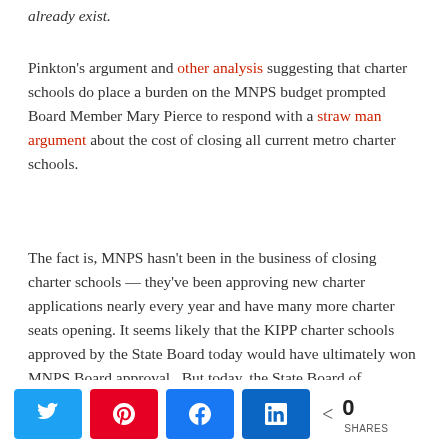already exist.
Pinkton's argument and other analysis suggesting that charter schools do place a burden on the MNPS budget prompted Board Member Mary Pierce to respond with a straw man argument about the cost of closing all current metro charter schools.
The fact is, MNPS hasn't been in the business of closing charter schools — they've been approving new charter applications nearly every year and have many more charter seats opening. It seems likely that the KIPP charter schools approved by the State Board today would have ultimately won MNPS Board approval.  But today, the State Board of Education decided they knew better than Nashville's School Board when and how many charter schools should be opened in Nashville. They also